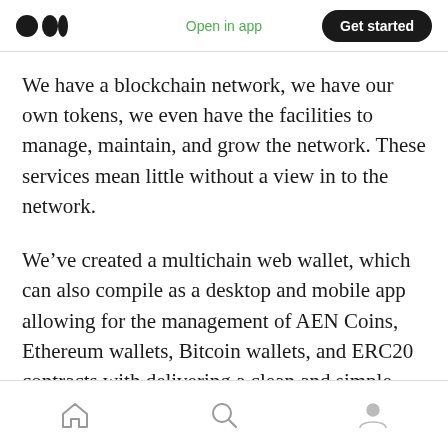Open in app | Get started
We have a blockchain network, we have our own tokens, we even have the facilities to manage, maintain, and grow the network. These services mean little without a view in to the network.
We’ve created a multichain web wallet, which can also compile as a desktop and mobile app allowing for the management of AEN Coins, Ethereum wallets, Bitcoin wallets, and ERC20 contracts with delivering a clean and simple user experience being the number one development priority.
Home | Search | Profile